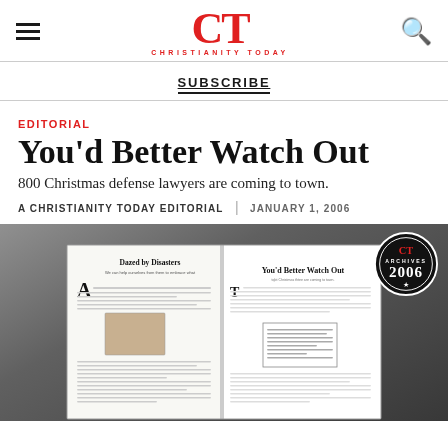CT CHRISTIANITY TODAY
SUBSCRIBE
EDITORIAL
You'd Better Watch Out
800 Christmas defense lawyers are coming to town.
A CHRISTIANITY TODAY EDITORIAL | JANUARY 1, 2006
[Figure (photo): Magazine spread showing two article pages. Left page: 'Dazed by Disasters' with a photo. Right page: 'You'd Better Watch Out' article. CT Archives 2006 badge in top right corner.]